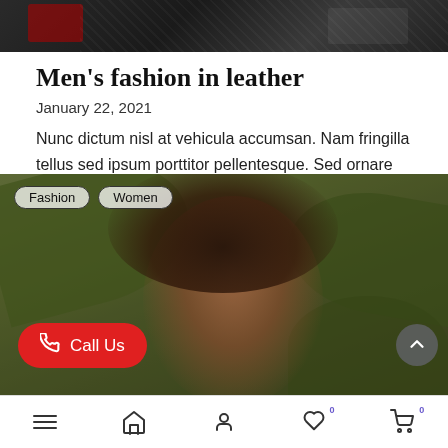[Figure (photo): Top portion of a dark leather fashion photo, showing black leather clothing and accessories on dark background]
Men’s fashion in leather
January 22, 2021
Nunc dictum nisl at vehicula accumsan. Nam fringilla tellus sed ipsum porttitor pellentesque. Sed ornare nunc quis
[Figure (photo): Woman with large afro hair surrounded by tropical green leaves, with category tags 'Fashion' and 'Women', a red 'Call Us' button at bottom left, and a scroll-to-top button at bottom right]
Navigation bar with menu, home, profile, heart (0), and cart (0) icons